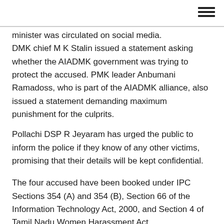[Figure (other): Hamburger menu icon (three horizontal lines) in top right corner]
minister was circulated on social media. DMK chief M K Stalin issued a statement asking whether the AIADMK government was trying to protect the accused. PMK leader Anbumani Ramadoss, who is part of the AIADMK alliance, also issued a statement demanding maximum punishment for the culprits.
Pollachi DSP R Jeyaram has urged the public to inform the police if they know of any other victims, promising that their details will be kept confidential.
The four accused have been booked under IPC Sections 354 (A) and 354 (B), Section 66 of the Information Technology Act, 2000, and Section 4 of Tamil Nadu Women Harassment Act.
A highly-placed source in the government said the government